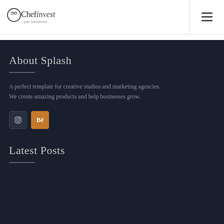[Figure (logo): Chefinvest par savefund logo with circular icon]
[Figure (other): Hamburger menu icon (three horizontal lines)]
About Splash
A perfect template for creative studios and marketing agencies. We create amazing products and help businesses grow.
[Figure (other): Social media icons: Instagram and Behance]
Latest Posts